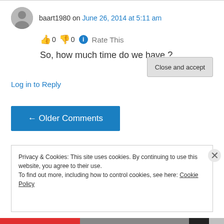baart1980 on June 26, 2014 at 5:11 am
👍 0 👎 0 ℹ Rate This
So, how much time do we have ?
Log in to Reply
← Older Comments
Privacy & Cookies: This site uses cookies. By continuing to use this website, you agree to their use.
To find out more, including how to control cookies, see here: Cookie Policy
Close and accept